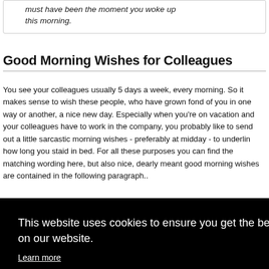must have been the moment you woke up this morning.
Good Morning Wishes for Colleagues
You see your colleagues usually 5 days a week, every morning. So it makes sense to wish these people, who have grown fond of you in one way or another, a nice new day. Especially when you're on vacation and your colleagues have to work in the company, you probably like to send out a little sarcastic morning wishes - preferably at midday - to underlin how long you staid in bed. For all these purposes you can find the matching wording here, but also nice, dearly meant good morning wishes are contained in the following paragraph..
This website uses cookies to ensure you get the best experience on our website.
Learn more
Got it!
[Figure (photo): Green clover/shamrock image with bold white text reading BEST FOR THE at the bottom]